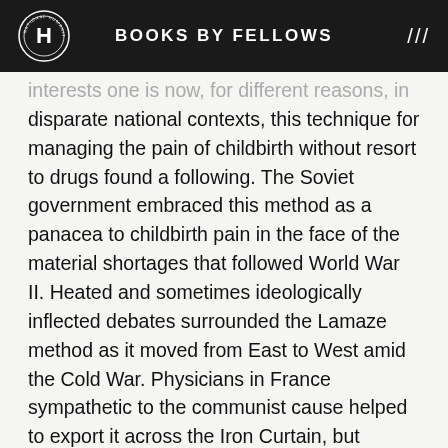BOOKS BY FELLOWS
interests one is now, for different reasons, in disparate national contexts, this technique for managing the pain of childbirth without resort to drugs found a following. The Soviet government embraced this method as a panacea to childbirth pain in the face of the material shortages that followed World War II. Heated and sometimes ideologically inflected debates surrounded the Lamaze method as it moved from East to West amid the Cold War. Physicians in France sympathetic to the communist cause helped to export it across the Iron Curtain, but politics alone fails to explain why French women embraced this approach. Arriving on American shores around 1960, the Lamaze method took on new meanings. Initially it offered women the same freedoms